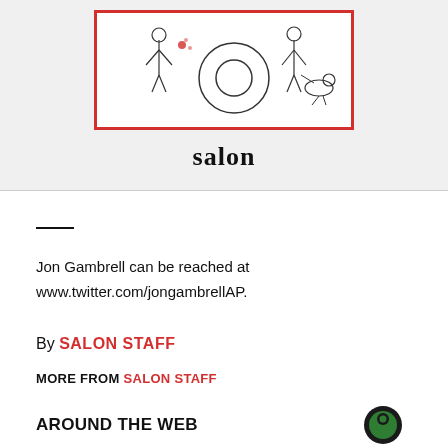[Figure (logo): Salon magazine logo with illustration inside a red-bordered box, followed by the word 'salon' in bold serif text below]
Jon Gambrell can be reached at www.twitter.com/jongambrellAP.
By SALON STAFF
MORE FROM SALON STAFF
AROUND THE WEB